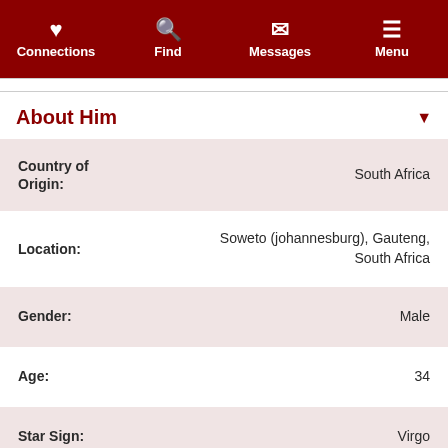Connections | Find | Messages | Menu
About Him
| Field | Value |
| --- | --- |
| Country of Origin: | South Africa |
| Location: | Soweto (johannesburg), Gauteng, South Africa |
| Gender: | Male |
| Age: | 34 |
| Star Sign: | Virgo |
| Height: | 157cm (5' 1.8") |